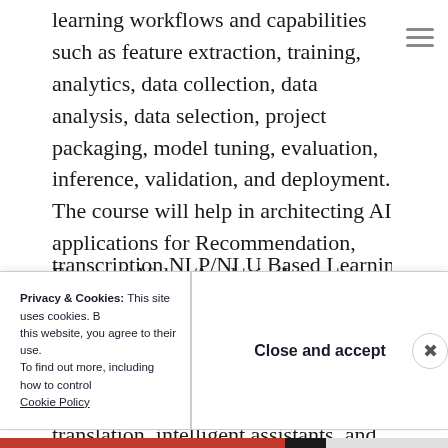learning workflows and capabilities such as feature extraction, training, analytics, data collection, data analysis, data selection, project packaging, model tuning, evaluation, inference, validation, and deployment. The course will help in architecting AI applications for Recommendation, Forecast, Video Analysis, Image Analysis, text analytics, document analysis, voice to text, speech recognition, search, document analysis, conversational agents, translation, intelligent assistants, and transcription NLP/NLU Based Learning
Privacy & Cookies: This site uses cookies. By continuing to use this website, you agree to their use. To find out more, including how to control cookies, see here: Cookie Policy
Close and accept